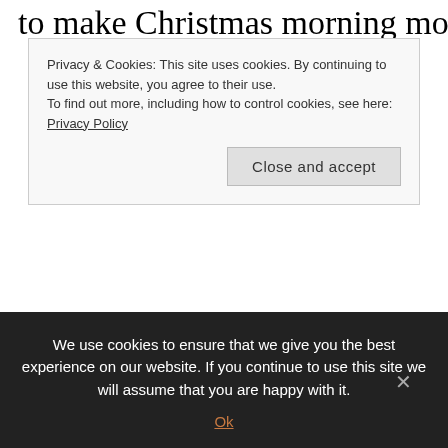to make Christmas morning more meaningful. I
Privacy & Cookies: This site uses cookies. By continuing to use this website, you agree to their use.
To find out more, including how to control cookies, see here: Privacy Policy
[Close and accept button]
package with a pretty bow.
How... HOW...can you remember that Jesus is the reason during the unwrapping of gifts, in the midst of something so... material and physical and almost... selfish?
We use cookies to ensure that we give you the best experience on our website. If you continue to use this site we will assume that you are happy with it.
Ok